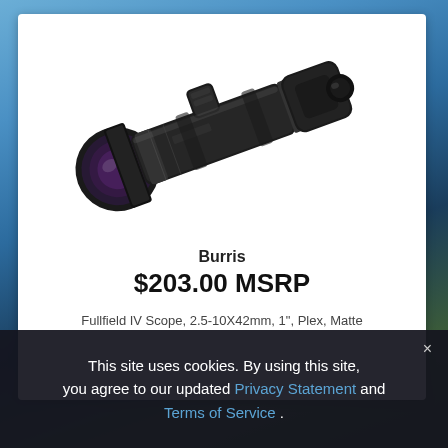[Figure (photo): A black rifle scope (Burris Fullfield IV) shown diagonally on a white background. The scope has a large objective lens with purple coating visible on the left, adjustment turrets in the middle, and an eyepiece on the upper right.]
Burris
$203.00 MSRP
Fullfield IV Scope, 2.5-10X42mm, 1", Plex, Matte
This site uses cookies. By using this site, you agree to our updated Privacy Statement and Terms of Service .